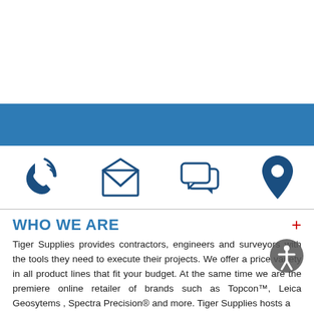[Figure (infographic): Blue horizontal banner/band across the page]
[Figure (infographic): Four contact icons in a row: phone with signal waves, open envelope/email, chat bubbles, map location pin — all in dark navy blue]
WHO WE ARE
Tiger Supplies provides contractors, engineers and surveyors with the tools they need to execute their projects. We offer a price variety in all product lines that fit your budget. At the same time we are the premiere online retailer of brands such as Topcon™, Leica Geosytems , Spectra Precision® and more. Tiger Supplies hosts a